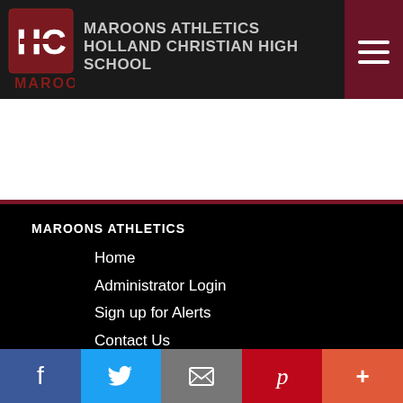MAROONS ATHLETICS
HOLLAND CHRISTIAN HIGH SCHOOL
MAROONS
MAROONS ATHLETICS
Home
Administrator Login
Sign up for Alerts
Contact Us
SCHOOL INFO
Holland Christian High School
950 Ottawa Ave
Holland, MI 49423
(616) 820-2905
Facebook  Twitter  Email  Pinterest  More